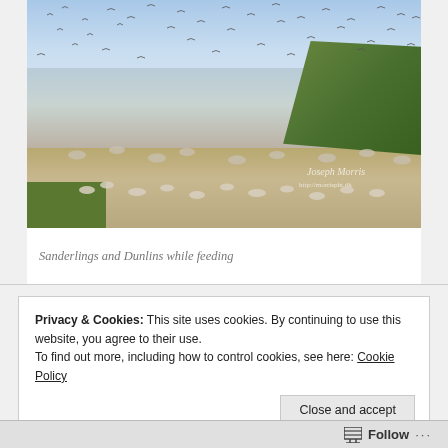[Figure (photo): A large flock of Sanderlings and Dunlins feeding on a sandy beach shoreline, with waves lapping the shore and green vegetation on the right side. Many birds are in flight and on the ground. A watermark reading 'Joseph Morris' and a website URL is visible in the lower right of the image.]
Sanderlings and Dunlins while feeding
Privacy & Cookies: This site uses cookies. By continuing to use this website, you agree to their use.
To find out more, including how to control cookies, see here: Cookie Policy
Close and accept
Follow